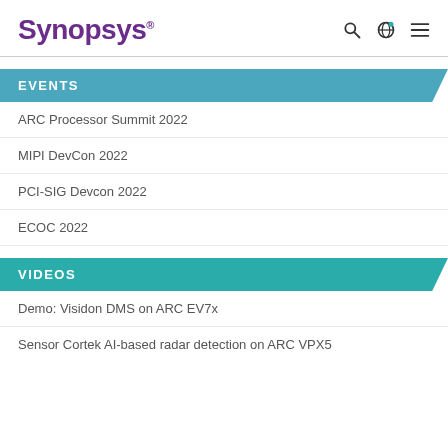SYNOPSYS
EVENTS
ARC Processor Summit 2022
MIPI DevCon 2022
PCI-SIG Devcon 2022
ECOC 2022
VIDEOS
Demo: Visidon DMS on ARC EV7x
Sensor Cortek AI-based radar detection on ARC VPX5